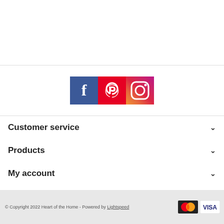[Figure (other): Social media icons: Facebook (blue), Pinterest (red/pink), Instagram (gradient orange-purple)]
Customer service
Products
My account
Heart of the Home
© Copyright 2022 Heart of the Home - Powered by Lightspeed